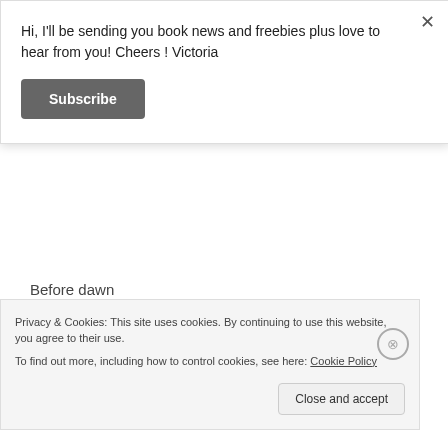Hi, I'll be sending you book news and freebies plus love to hear from you! Cheers ! Victoria
Subscribe
Before dawn
I rise & write
thrown across
Privacy & Cookies: This site uses cookies. By continuing to use this website, you agree to their use. To find out more, including how to control cookies, see here: Cookie Policy
Close and accept